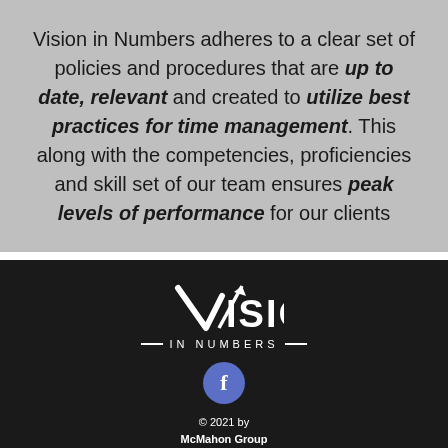Vision in Numbers adheres to a clear set of policies and procedures that are up to date, relevant and created to utilize best practices for time management. This along with the competencies, proficiencies and skill set of our team ensures peak levels of performance for our clients
[Figure (logo): Vision in Numbers logo with upward arrow through the V, white text on dark background]
© 2021 by McMahon Group